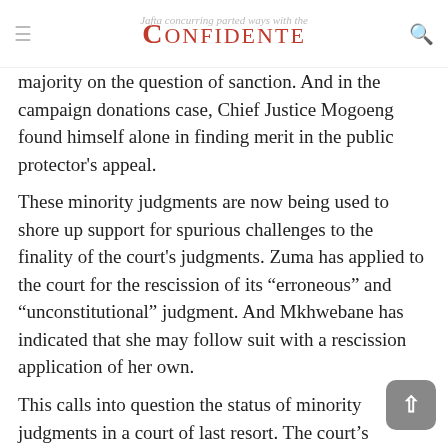Jafta concurring parted ways with the majority on the question of sanction. And in the campaign donations case, Chief Justice Mogoeng found himself alone in finding merit in the public protector's appeal.
These minority judgments are now being used to shore up support for spurious challenges to the finality of the court's judgments. Zuma has applied to the court for the rescission of its "erroneous" and "unconstitutional" judgment. And Mkhwebane has indicated that she may follow suit with a rescission application of her own.
This calls into question the status of minority judgments in a court of last resort. The court's